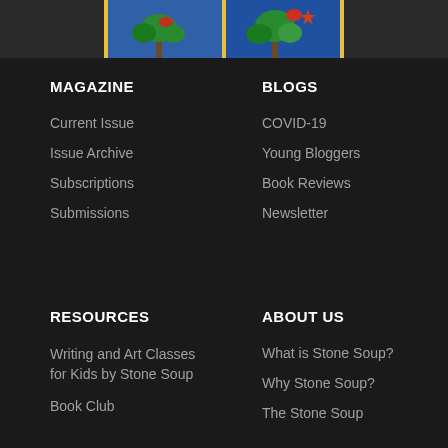[Figure (illustration): Colorful illustrated artwork showing trees with green and red/orange leaves on a blue background, displayed in a horizontal banner strip at the top of the page]
MAGAZINE
Current Issue
Issue Archive
Subscriptions
Submissions
BLOGS
COVID-19
Young Bloggers
Book Reviews
Newsletter
RESOURCES
Writing and Art Classes for Kids by Stone Soup
Book Club
ABOUT US
What is Stone Soup?
Why Stone Soup?
The Stone Soup